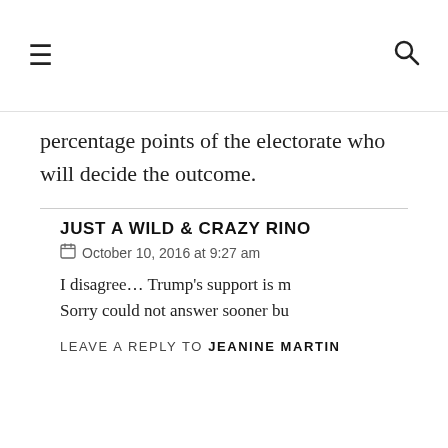☰  🔍
percentage points of the electorate who will decide the outcome.
JUST A WILD & CRAZY RINO
October 10, 2016 at 9:27 am
I disagree... Trump's support is m... Sorry could not answer sooner bu...
https://uploads.disquscdn.com/im
LEAVE A REPLY TO JEANINE MARTIN